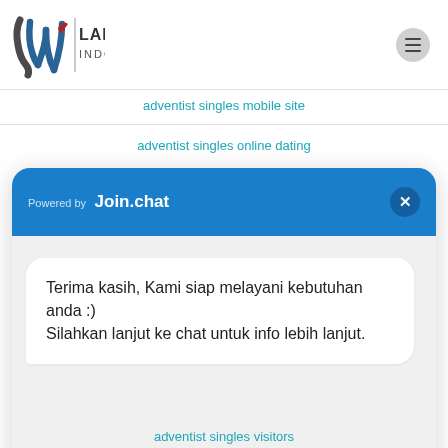[Figure (logo): Lamani Indonesia logo with stylized LW monogram and text LAMANI / INDONESIA, with hamburger menu button top right]
adventist singles mobile site
adventist singles online dating
[Figure (screenshot): Join.chat widget popup. Header: 'Powered by Join.chat' with close X button. Chat bubble message: 'Terima kasih, Kami siap melayani kebutuhan anda :) Silahkan lanjut ke chat untuk info lebih lanjut.' Button: 'Kirim Pesan' with chat icon.]
adventist singles visitors